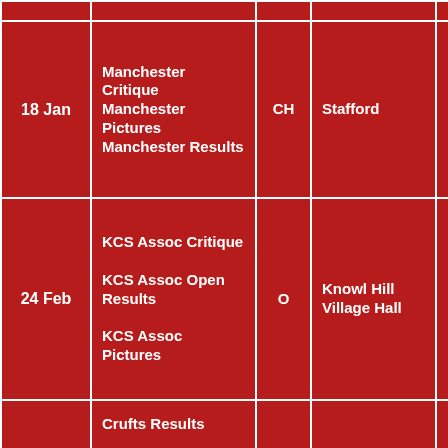| Date | Event | Code | Venue | Judge |
| --- | --- | --- | --- | --- |
| 18 Jan | Manchester Critique
Manchester Pictures
Manchester Results | CH | Stafford | Mr I Willey |
| 24 Feb | KCS Assoc Critique

KCS Assoc Open Results

KCS Assoc Pictures | O | Knowl Hill Village Hall | Mr A Allcock |
|  | Crufts Results

Crufts Critique |  |  | Mrs C |